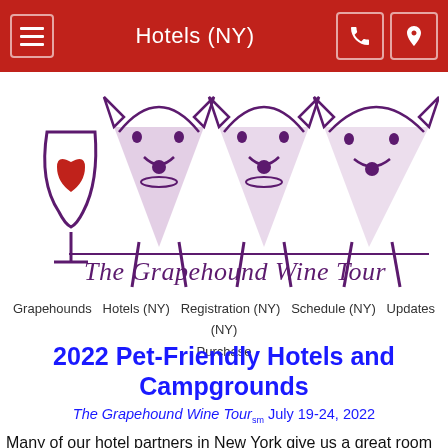Hotels (NY)
[Figure (logo): The Grapehound Wine Tour logo featuring three greyhound dogs drawn in purple ink with a wine glass and red heart on the left, with cursive text reading 'The Grapehound Wine Tour']
Grapehounds   Hotels (NY)   Registration (NY)   Schedule (NY)   Updates (NY)   Purchase
2022 Pet-Friendly Hotels and Campgrounds
The Grapehound Wine Toursm July 19-24, 2022
Many of our hotel partners in New York give us a great room